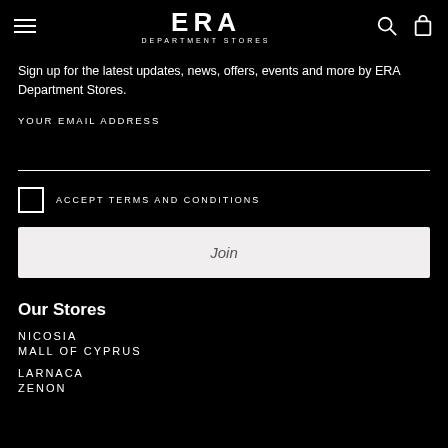ERA DEPARTMENT STORES
Sign up for the latest updates, news, offers, events and more by ERA Department Stores.
YOUR EMAIL ADDRESS
ACCEPT TERMS AND CONDITIONS
Join
Our Stores
NICOSIA
MALL OF CYPRUS
LARNACA
ZENON